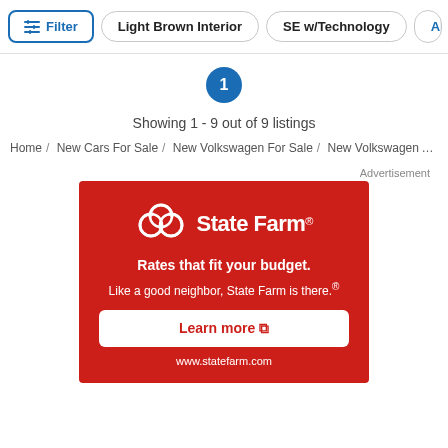Filter | Light Brown Interior | SE w/Technology | Al...
1
Showing 1 - 9 out of 9 listings
Home / New Cars For Sale / New Volkswagen For Sale / New Volkswagen Atlas Cross Sport For Sale
Advertisement
[Figure (other): State Farm advertisement on red background. Shows State Farm logo with three overlapping circles icon. Text: 'Rates that fit your budget.' and 'Like a good neighbor, State Farm is there.®' with a white 'Learn more' button and 'www.statefarm.com' URL.]